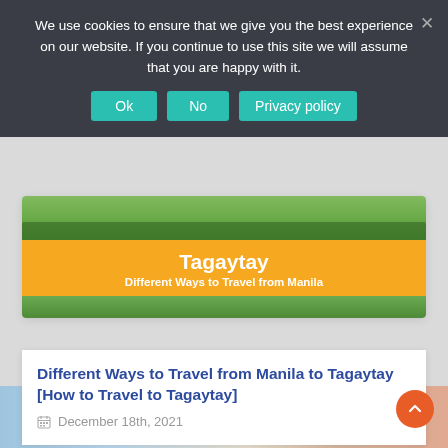We use cookies to ensure that we give you the best experience on our website. If you continue to use this site we will assume that you are happy with it.
Ok | No | Privacy policy
[Figure (photo): Aerial/landscape photo of green hills and trees with an orange banner overlay showing 'Tagaytay — Different Ways to Travel from Manila']
Different Ways to Travel from Manila to Tagaytay [How to Travel to Tagaytay]
December 18th, 2021
[Figure (photo): Bottom strip showing cartoon/colorful figures, partially visible]